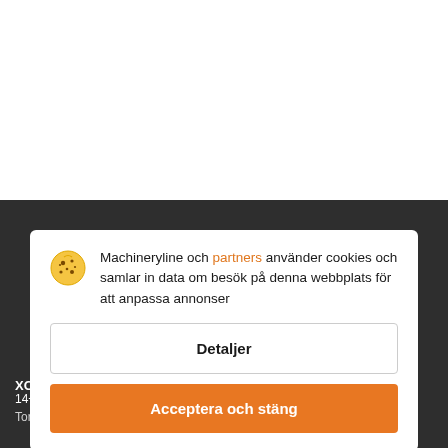[Figure (screenshot): Cookie consent dialog overlay on a machinery website (Machineryline). Top half is white background. Bottom half shows a dark-themed machinery listing page partially visible behind the overlay. The overlay displays a cookie notice in Swedish with a 'Detaljer' button and an orange 'Acceptera och stäng' button.]
Machineryline och partners använder cookies och samlar in data om besök på denna webbplats för att anpassa annonser
Detaljer
Acceptera och stäng
XC...
14+/ddd kr ...
Tornkran